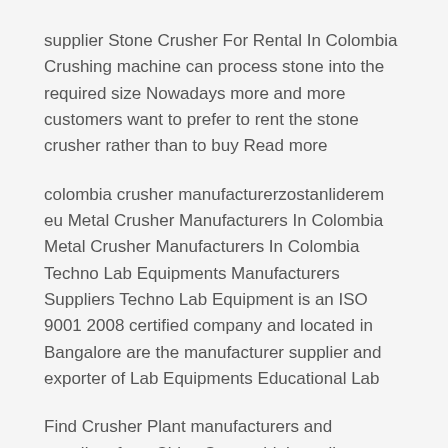supplier Stone Crusher For Rental In Colombia Crushing machine can process stone into the required size Nowadays more and more customers want to prefer to rent the stone crusher rather than to buy Read more
colombia crusher manufacturerzostanliderem eu Metal Crusher Manufacturers In Colombia Metal Crusher Manufacturers In Colombia Techno Lab Equipments Manufacturers Suppliers Techno Lab Equipment is an ISO 9001 2008 certified company and located in Bangalore are the manufacturer supplier and exporter of Lab Equipments Educational Lab
Find Crusher Plant manufacturers and suppliers from China Source high quality Crusher Plant supplied by verified and experienced manufacturers Contact reliable exporters of Crusher Plant across China at